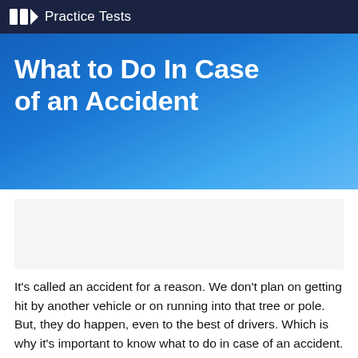Practice Tests
What to Do In Case of an Accident
It's called an accident for a reason. We don't plan on getting hit by another vehicle or on running into that tree or pole. But, they do happen, even to the best of drivers. Which is why it's important to know what to do in case of an accident. There's no use panicking, so read and